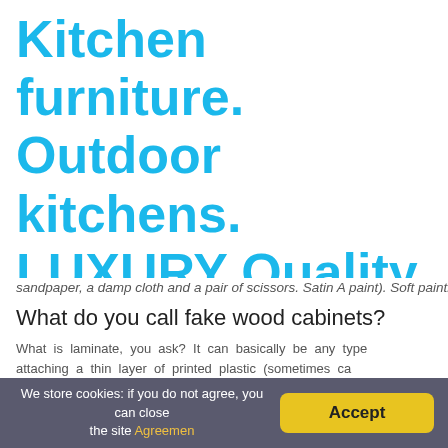Kitchen furniture. Outdoor kitchens. LUXURY Quality
sandpaper, a damp cloth and a pair of scissors. Satin A paint). Soft paintbrushes (try B&Q Fine Finish three-brush
What do you call fake wood cabinets?
What is laminate, you ask? It can basically be any type attaching a thin layer of printed plastic (sometimes ca particle board.
How do I get a smooth finish on kitchen c
We store cookies: if you do not agree, you can close the site Agreemen